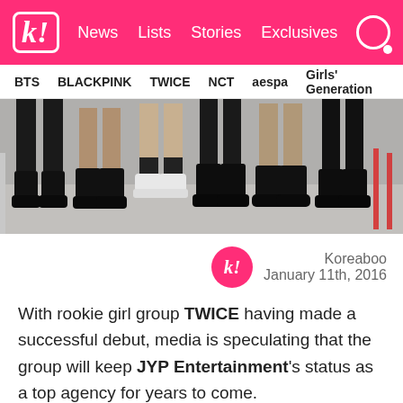k! News Lists Stories Exclusives
BTS BLACKPINK TWICE NCT aespa Girls' Generation
[Figure (photo): Close-up photo of the legs and feet of multiple young women wearing various boots and shoes, standing together in a row against a light grey background.]
Koreaboo
January 11th, 2016
With rookie girl group TWICE having made a successful debut, media is speculating that the group will keep JYP Entertainment's status as a top agency for years to come.
Although TWICE was highly anticipated